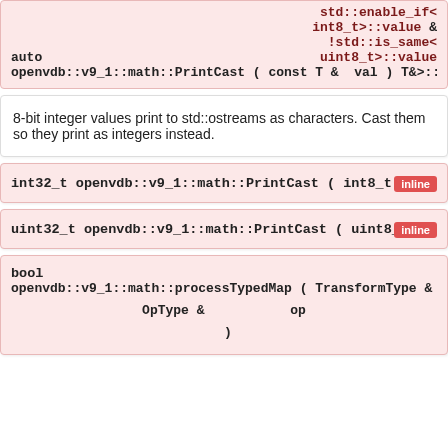std::enable_if< int8_t>::value ! !std::is_same< uint8_t>::value auto openvdb::v9_1::math::PrintCast ( const T & val ) T&>::type
8-bit integer values print to std::ostreams as characters. Cast them so they print as integers instead.
int32_t openvdb::v9_1::math::PrintCast ( int8_t val ) [inline]
uint32_t openvdb::v9_1::math::PrintCast ( uint8_t val ) [inline]
bool openvdb::v9_1::math::processTypedMap ( TransformType & tra OpType & op )